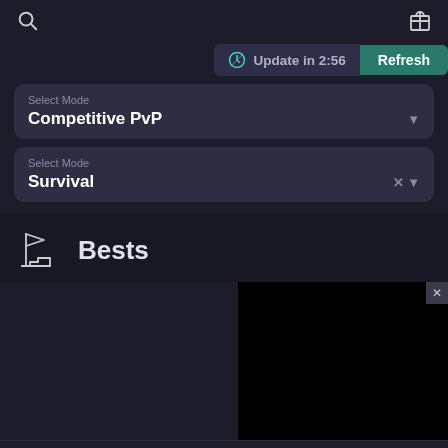Search | Gift
Update in 2:56 | Refresh
Select Mode
Competitive PvP
Select Mode
Survival
Bests
[Figure (screenshot): Dark content area with black panel on the right and close X button]
Home | My Profile | Leaderboards | Database | More